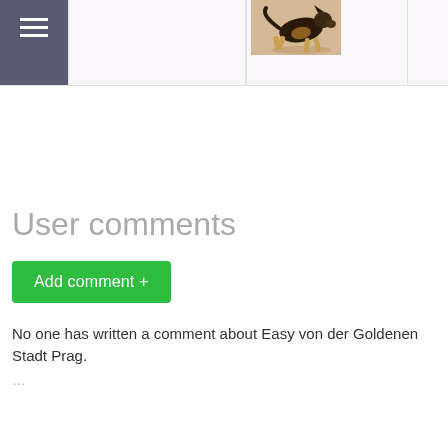[Figure (screenshot): Top navigation grid with hamburger menu icon on dark background, empty cells, and a dog photo (German Shepherd walking on sand) in the third cell]
User comments
Add comment +
No one has written a comment about Easy von der Goldenen Stadt Prag.